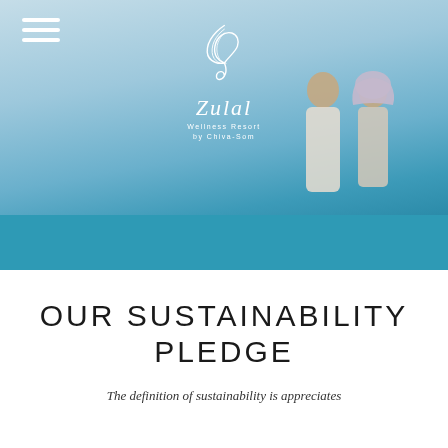[Figure (photo): Hero image of Zulal Wellness Resort by Chiva-Som with sky blue background and two people (a man and a woman in headscarf) in the right portion. Teal/blue band across the bottom. Hamburger menu icon top left. Zulal logo centered at top with wing/feather emblem.]
OUR SUSTAINABILITY PLEDGE
The definition of sustainability is appreciates